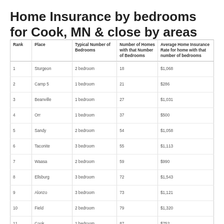Home Insurance by bedrooms for Cook, MN & close by areas
| Rank | Place | Typical Number of Bedrooms | Number of Homes with that Number of Bedrooms | Average Home Insurance Rate for home with that number of bedrooms |
| --- | --- | --- | --- | --- |
| 1 | Sturgeon | 2 bedroom | 18 | $1,068 |
| 2 | Camp 5 | 1 bedroom | 21 | $286 |
| 3 | Beanville | 1 bedroom | 27 | $1,031 |
| 4 | Orr | 1 bedroom | 37 | $500 |
| 5 | Sandy | 2 bedroom | 54 | $1,058 |
| 6 | Taconite | 3 bedroom | 55 | $1,113 |
| 7 | Waasa | 2 bedroom | 59 | $990 |
| 8 | Ellsburg | 3 bedroom | 72 | $1,543 |
| 9 | Alonzo | 3 bedroom | 73 | $1,121 |
| 10 | Field | 2 bedroom | 79 | $1,320 |
| 11 | Cook | 1 bedroom | 87 | $752 |
| 12 | Vermilion Lake | 2 bedroom | 92 | $1,170 |
| 13 | Northwest St. Louis | 3 bedroom | 117 | $1,732 |
| 14 | Fayal | 4 bedroom | 127 | $2,070 |